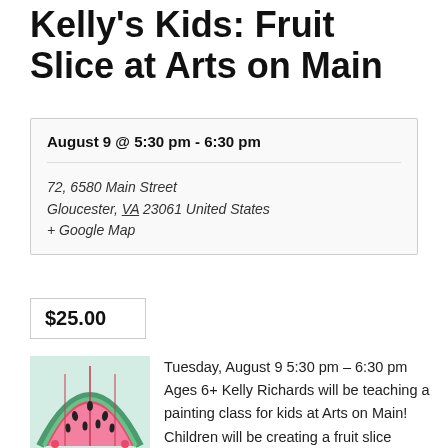Kelly's Kids: Fruit Slice at Arts on Main
August 9 @ 5:30 pm - 6:30 pm
72, 6580 Main Street
Gloucester, VA 23061 United States
+ Google Map
$25.00
[Figure (photo): Watermelon fruit slice painting artwork with pink and red colors on canvas]
Tuesday, August 9 5:30 pm – 6:30 pm Ages 6+ Kelly Richards will be teaching a painting class for kids at Arts on Main! Children will be creating a fruit slice painting using acrylic paint on canvas. Kelly will provide all materials. Cost is $25 per student.